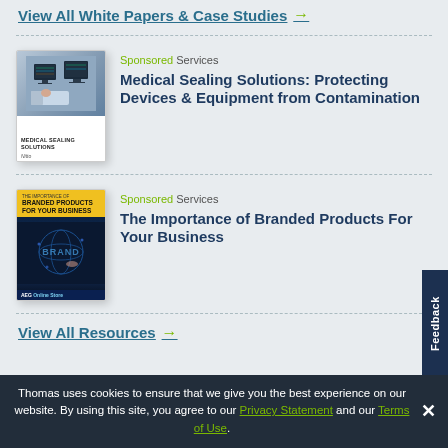View All White Papers & Case Studies →
[Figure (illustration): Book cover for Medical Sealing Solutions showing medical equipment/monitors on the cover]
Sponsored Services
Medical Sealing Solutions: Protecting Devices & Equipment from Contamination
[Figure (illustration): Book cover for The Importance of Branded Products For Your Business with yellow header and dark blue background with globe/brand imagery, AEC Online Store logo at bottom]
Sponsored Services
The Importance of Branded Products For Your Business
View All Resources →
Thomas uses cookies to ensure that we give you the best experience on our website. By using this site, you agree to our Privacy Statement and our Terms of Use.